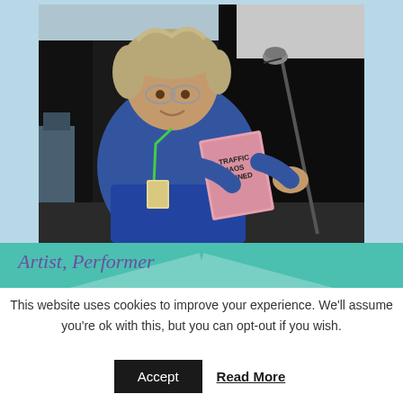[Figure (photo): A man with grey wavy hair and glasses, wearing a blue fleece jacket and green lanyard, reading from a pink booklet titled 'Traffic Chaos Planned' at a microphone stand on a stage with a dark backdrop.]
Artist, Performer
This website uses cookies to improve your experience. We'll assume you're ok with this, but you can opt-out if you wish.
Accept   Read More